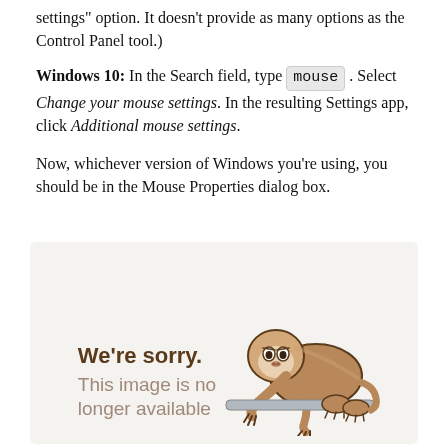settings" option. It doesn't provide as many options as the Control Panel tool.)
Windows 10: In the Search field, type mouse. Select Change your mouse settings. In the resulting Settings app, click Additional mouse settings.
Now, whichever version of Windows you're using, you should be in the Mouse Properties dialog box.
[Figure (illustration): A placeholder image box with light beige background showing the text 'We're sorry. This image is no longer available' alongside an illustrated cartoon sloth hanging on a bar.]